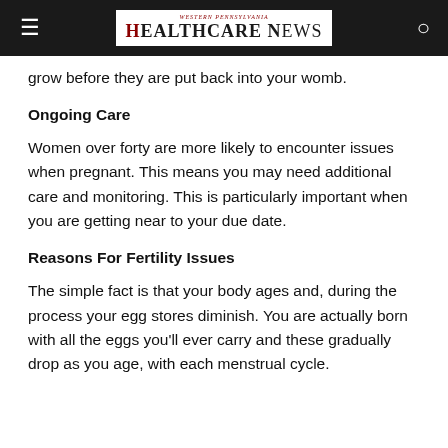WESTERN PENNSYLVANIA HEALTHCARE NEWS
grow before they are put back into your womb.
Ongoing Care
Women over forty are more likely to encounter issues when pregnant. This means you may need additional care and monitoring. This is particularly important when you are getting near to your due date.
Reasons For Fertility Issues
The simple fact is that your body ages and, during the process your egg stores diminish. You are actually born with all the eggs you'll ever carry and these gradually drop as you age, with each menstrual cycle.